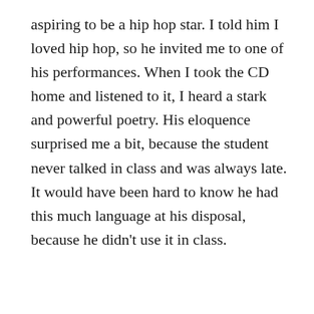aspiring to be a hip hop star. I told him I loved hip hop, so he invited me to one of his performances. When I took the CD home and listened to it, I heard a stark and powerful poetry. His eloquence surprised me a bit, because the student never talked in class and was always late. It would have been hard to know he had this much language at his disposal, because he didn't use it in class.